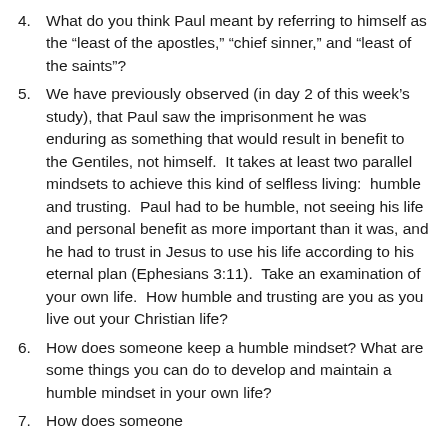4. What do you think Paul meant by referring to himself as the “least of the apostles,” “chief sinner,” and “least of the saints”?
5. We have previously observed (in day 2 of this week’s study), that Paul saw the imprisonment he was enduring as something that would result in benefit to the Gentiles, not himself.  It takes at least two parallel mindsets to achieve this kind of selfless living:  humble and trusting.  Paul had to be humble, not seeing his life and personal benefit as more important than it was, and he had to trust in Jesus to use his life according to his eternal plan (Ephesians 3:11).  Take an examination of your own life.  How humble and trusting are you as you live out your Christian life?
6. How does someone keep a humble mindset? What are some things you can do to develop and maintain a humble mindset in your own life?
7. How does someone...